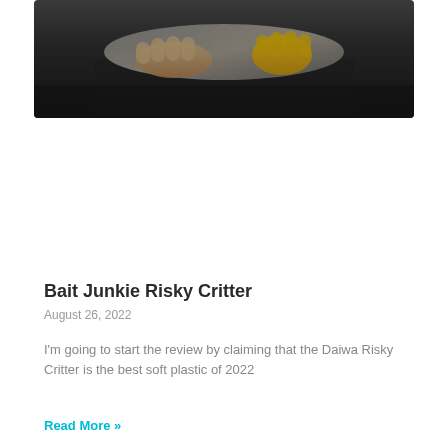[Figure (photo): Hands holding a fish (appears to be a scaled/banded fish) over what looks like a sink or fish box, person wearing yellow gloves or jacket, dark background]
Bait Junkie Risky Critter
August 26, 2022
I'm going to start the review by claiming that the Daiwa Risky Critter is the best soft plastic of 2022
Read More »